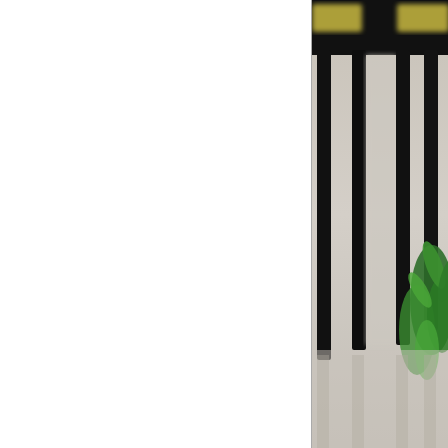[Figure (photo): Close-up photo of dark metal chair legs and stools on a patio, with a green plant visible on the right side. Image is partially cropped — only the right portion is visible on the page.]
The patio in front is surrounded by plantings of herbs and
[Figure (photo): Interior photo showing a framed artwork of a golden/yellow decorative vessel or trophy shape against a warm beige/cream wall with warm lighting.]